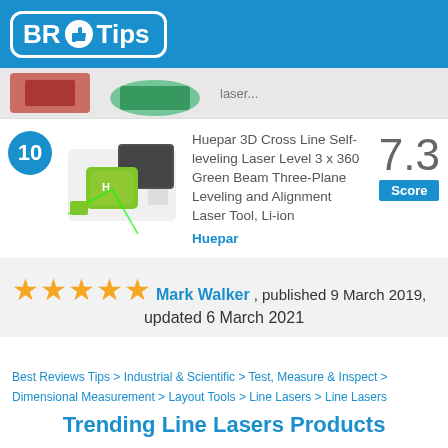BR Tips
[Figure (photo): Partial view of a laser level product image at the top of the page]
10 — Huepar 3D Cross Line Self-leveling Laser Level 3 x 360 Green Beam Three-Plane Leveling and Alignment Laser Tool, Li-ion — Huepar — Score 7.3
★★★★★ Mark Walker, published 9 March 2019, updated 6 March 2021
Best Reviews Tips > Industrial & Scientific > Test, Measure & Inspect > Dimensional Measurement > Layout Tools > Line Lasers > Line Lasers
Trending Line Lasers Products